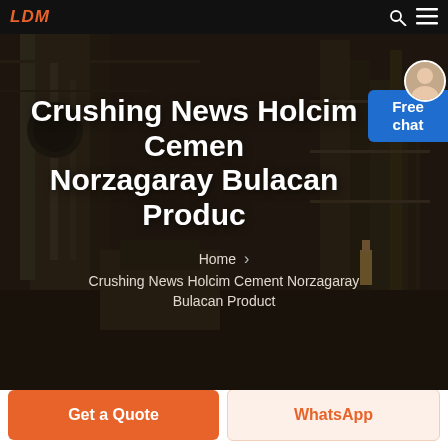LDM
[Figure (photo): Dark industrial factory interior with heavy machinery, silos, and scaffolding as hero background image]
Crushing News Holcim Cement Norzagaray Bulacan Product
Home › Crushing News Holcim Cement Norzagaray Bulacan Product
Free chat
Get a Quote
WhatsApp